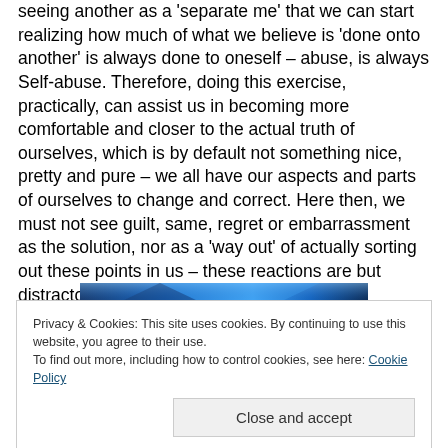seeing another as a 'separate me' that we can start realizing how much of what we believe is 'done onto another' is always done to oneself – abuse, is always Self-abuse. Therefore, doing this exercise, practically, can assist us in becoming more comfortable and closer to the actual truth of ourselves, which is by default not something nice, pretty and pure – we all have our aspects and parts of ourselves to change and correct. Here then, we must not see guilt, same, regret or embarrassment as the solution, nor as a 'way out' of actually sorting out these points in us – these reactions are but distractors if they remain a bit too long as our experience – we have to walk through our creation and take responsibility, it's the least we can do after we've 'fired those bullets' existing as harmful thoughts and experiences 'shot' at others.
[Figure (photo): Blue gradient banner image strip]
Privacy & Cookies: This site uses cookies. By continuing to use this website, you agree to their use. To find out more, including how to control cookies, see here: Cookie Policy
Close and accept